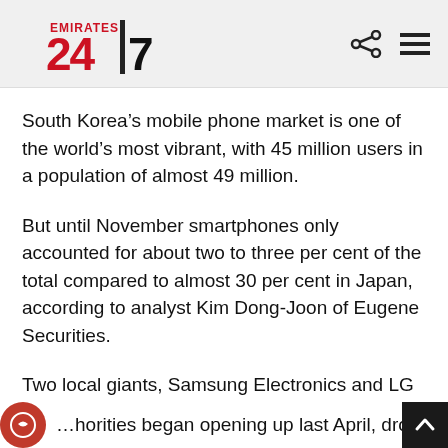Emirates 24|7
South Korea's mobile phone market is one of the world's most vibrant, with 45 million users in a population of almost 49 million.
But until November smartphones only accounted for about two to three per cent of the total compared to almost 30 per cent in Japan, according to analyst Kim Dong-Joon of Eugene Securities.
Two local giants, Samsung Electronics and LG Electronics, account for about 90 per cent of the total mobile phone market.
…horities began opening up last April, dropping…